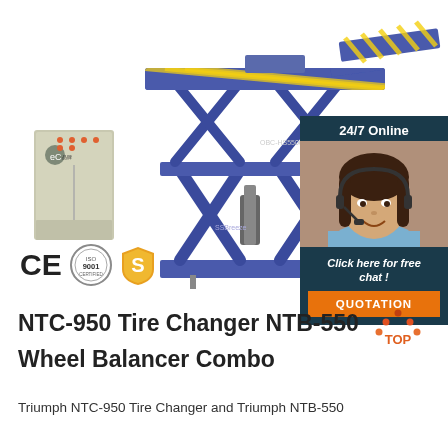[Figure (photo): Industrial scissor lift / car lift equipment in blue color with yellow safety stripes, and a control unit box on the left (labeled eC). Shown on white background.]
[Figure (infographic): 24/7 Online chat widget with female customer service agent wearing headset, teal/dark background, orange QUOTATION button and italic 'Click here for free chat!' text.]
[Figure (logo): Three certification logos: CE mark, ISO 9001 circular seal, and a golden S shield badge.]
NTC-950 Tire Changer NTB-550 Wheel Balancer Combo
Triumph NTC-950 Tire Changer and Triumph NTB-550